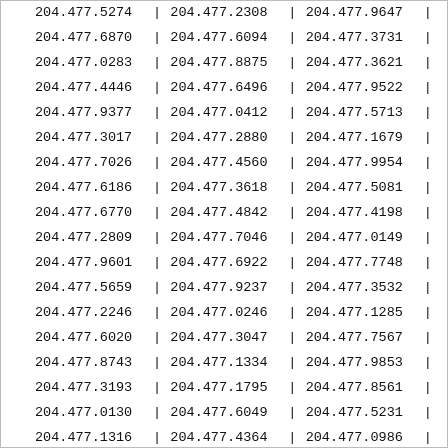| Col1 | Sep | Col2 | Sep | Col3 | Sep |
| --- | --- | --- | --- | --- | --- |
| 204.477.5274 | | | 204.477.2308 | | | 204.477.9647 | | |
| 204.477.6870 | | | 204.477.6094 | | | 204.477.3731 | | |
| 204.477.0283 | | | 204.477.8875 | | | 204.477.3621 | | |
| 204.477.4446 | | | 204.477.6496 | | | 204.477.9522 | | |
| 204.477.9377 | | | 204.477.0412 | | | 204.477.5713 | | |
| 204.477.3017 | | | 204.477.2880 | | | 204.477.1679 | | |
| 204.477.7026 | | | 204.477.4560 | | | 204.477.9954 | | |
| 204.477.6186 | | | 204.477.3618 | | | 204.477.5081 | | |
| 204.477.6770 | | | 204.477.4842 | | | 204.477.4198 | | |
| 204.477.2809 | | | 204.477.7046 | | | 204.477.0149 | | |
| 204.477.9601 | | | 204.477.6922 | | | 204.477.7748 | | |
| 204.477.5659 | | | 204.477.9237 | | | 204.477.3532 | | |
| 204.477.2246 | | | 204.477.0246 | | | 204.477.1285 | | |
| 204.477.6020 | | | 204.477.3047 | | | 204.477.7567 | | |
| 204.477.8743 | | | 204.477.1334 | | | 204.477.9853 | | |
| 204.477.3193 | | | 204.477.1795 | | | 204.477.8561 | | |
| 204.477.0130 | | | 204.477.6049 | | | 204.477.5231 | | |
| 204.477.1316 | | | 204.477.4364 | | | 204.477.0986 | | |
| 204.477.2454 | | | 204.477.1675 | | | 204.477.8235 | | |